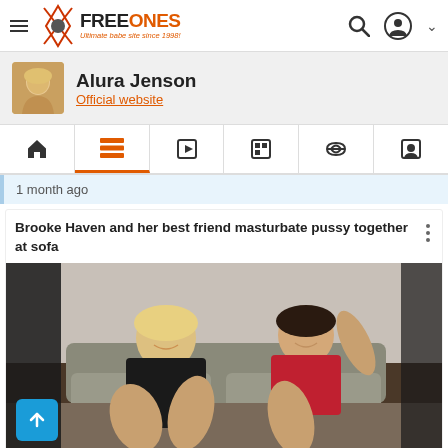FreeOnes - Ultimate babe site since 1998!
Alura Jenson
Official website
1 month ago
Brooke Haven and her best friend masturbate pussy together at sofa
[Figure (photo): Video thumbnail showing two women on a sofa]